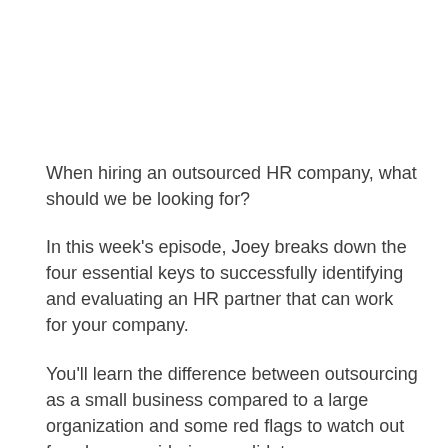When hiring an outsourced HR company, what should we be looking for?
In this week's episode, Joey breaks down the four essential keys to successfully identifying and evaluating an HR partner that can work for your company.
You'll learn the difference between outsourcing as a small business compared to a large organization and some red flags to watch out for when considering candidates.
Joey also discusses the paradigm shift that's been happening recently around office attire. After three